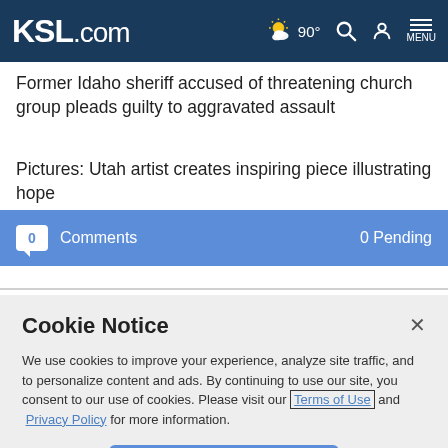KSL.com — 90° weather icon, search, account, menu
Former Idaho sheriff accused of threatening church group pleads guilty to aggravated assault
Pictures: Utah artist creates inspiring piece illustrating hope
0 Comments   0 Pending
Cookie Notice
We use cookies to improve your experience, analyze site traffic, and to personalize content and ads. By continuing to use our site, you consent to our use of cookies. Please visit our Terms of Use and Privacy Policy for more information.
Continue